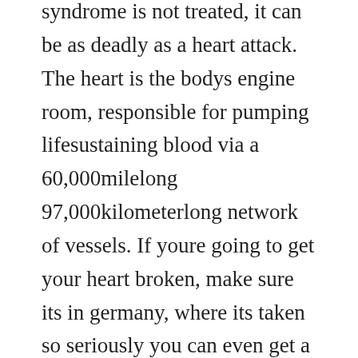syndrome is not treated, it can be as deadly as a heart attack. The heart is the bodys engine room, responsible for pumping lifesustaining blood via a 60,000milelong 97,000kilometerlong network of vessels. If youre going to get your heart broken, make sure its in germany, where its taken so seriously you can even get a doctors note.
Watch wilder at heart free porn video on tnaflix, worlds best xxx hd porn tube site. Unsure of what to do with the items love left behind, she curates the broken heart gallery in